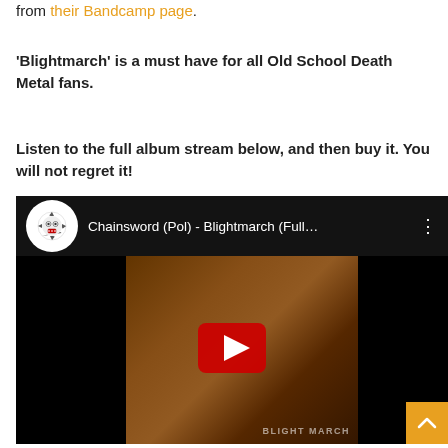from their Bandcamp page.
'Blightmarch' is a must have for all Old School Death Metal fans.
Listen to the full album stream below, and then buy it. You will not regret it!
[Figure (screenshot): YouTube video embed showing 'Chainsword (Pol) - Blightmarch (Full...' with a dark thumbnail featuring album artwork and a red play button, with a scroll-to-top button in the bottom right corner]